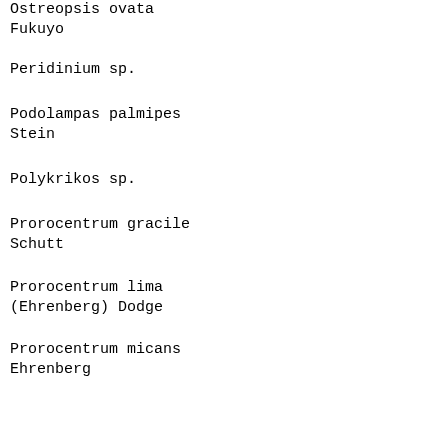Ostreopsis ovata Fukuyo
Peridinium sp.
Podolampas palmipes Stein
Polykrikos sp.
Prorocentrum gracile Schutt
Prorocentrum lima (Ehrenberg) Dodge
Prorocentrum micans Ehrenberg
Prorocentrum minimum (Pavillard) Schiller
Prorocentrum rathymum (Loeblich) Shirley and Schmidt